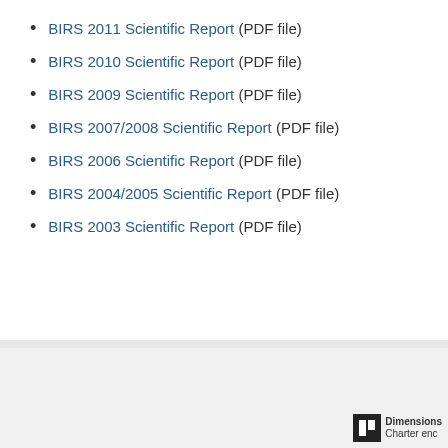BIRS 2011 Scientific Report (PDF file)
BIRS 2010 Scientific Report (PDF file)
BIRS 2009 Scientific Report (PDF file)
BIRS 2007/2008 Scientific Report (PDF file)
BIRS 2006 Scientific Report (PDF file)
BIRS 2004/2005 Scientific Report (PDF file)
BIRS 2003 Scientific Report (PDF file)